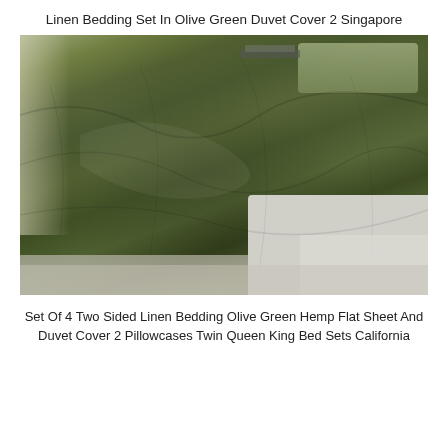Linen Bedding Set In Olive Green Duvet Cover 2 Singapore
[Figure (photo): A bed covered with an olive green linen duvet/bedding set, photographed from a low angle. The bed has a white frame and the bedding is heavily textured and rumpled. Pillows in the same olive green linen are visible in the background. The floor appears to be light-colored wood planks. Natural light comes from the left side.]
Set Of 4 Two Sided Linen Bedding Olive Green Hemp Flat Sheet And Duvet Cover 2 Pillowcases Twin Queen King Bed Sets California